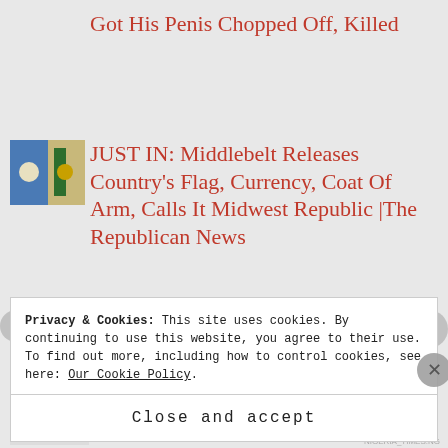Got His Penis Chopped Off, Killed
[Figure (photo): Two small thumbnail images showing flags]
JUST IN: Middlebelt Releases Country's Flag, Currency, Coat Of Arm, Calls It Midwest Republic |The Republican News
[Figure (photo): Small thumbnail image with 'Se' text visible]
Sen. Godswill Akpabio Exposes The Lies Of Governor Nigerians...
Privacy & Cookies: This site uses cookies. By continuing to use this website, you agree to their use.
To find out more, including how to control cookies, see here: Our Cookie Policy
Close and accept